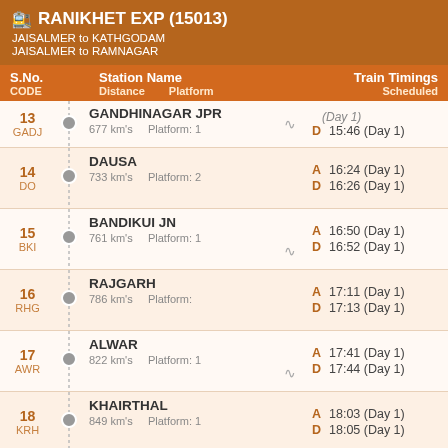RANIKHET EXP (15013) — JAISALMER to KATHGODAM / JAISALMER to RAMNAGAR
| S.No. CODE | Station Name / Distance / Platform |  | Train Timings Scheduled |
| --- | --- | --- | --- |
| 13 GADJ | GANDHINAGAR JPR | 677 km's  Platform: 1 | D 15:46 (Day 1) |
| 14 DO | DAUSA | 733 km's  Platform: 2 | A 16:24 (Day 1) / D 16:26 (Day 1) |
| 15 BKI | BANDIKUI JN | 761 km's  Platform: 1 | A 16:50 (Day 1) / D 16:52 (Day 1) |
| 16 RHG | RAJGARH | 786 km's  Platform: | A 17:11 (Day 1) / D 17:13 (Day 1) |
| 17 AWR | ALWAR | 822 km's  Platform: 1 | A 17:41 (Day 1) / D 17:44 (Day 1) |
| 18 KRH | KHAIRTHAL | 849 km's  Platform: 1 | A 18:03 (Day 1) / D 18:05 (Day 1) |
| 19 BWL | BAWAL | 880 km's  Platform: 2 | A 18:29 (Day 1) |